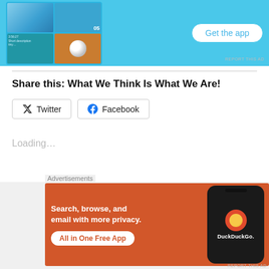[Figure (screenshot): Mobile app advertisement banner with blue background showing phone screenshots and a 'Get the app' button]
REPORT THIS AD
Share this: What We Think Is What We Are!
Twitter
Facebook
Loading...
Related
Advertisements
[Figure (screenshot): DuckDuckGo advertisement: 'Search, browse, and email with more privacy. All in One Free App' with DuckDuckGo logo on phone]